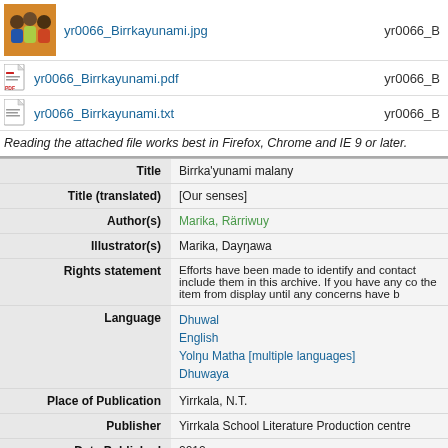[Figure (photo): Small photo of children, used as thumbnail for an image file]
yr0066_Birrkayunami.jpg
yr0066_B
yr0066_Birrkayunami.pdf
yr0066_B
yr0066_Birrkayunami.txt
yr0066_B
Reading the attached file works best in Firefox, Chrome and IE 9 or later.
| Field | Value |
| --- | --- |
| Title | Birrka'yunami malany |
| Title (translated) | [Our senses] |
| Author(s) | Marika, Rärriwuy |
| Illustrator(s) | Marika, Daynawa |
| Rights statement | Efforts have been made to identify and contact include them in this archive. If you have any co the item from display until any concerns have b |
| Language | Dhuwal
English
Yolnu Matha [multiple languages]
Dhuwaya |
| Place of Publication | Yirrkala, N.T. |
| Publisher | Yirrkala School Literature Production centre |
| Date Published | 2012 |